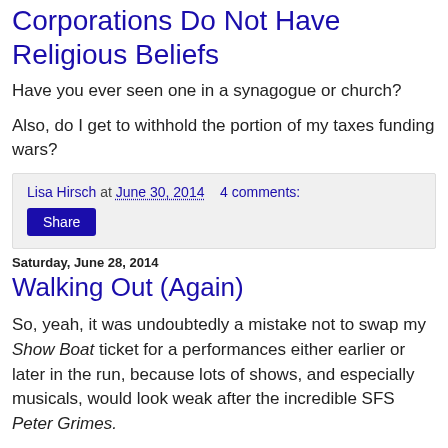Corporations Do Not Have Religious Beliefs
Have you ever seen one in a synagogue or church?
Also, do I get to withhold the portion of my taxes funding wars?
Lisa Hirsch at June 30, 2014    4 comments:
Saturday, June 28, 2014
Walking Out (Again)
So, yeah, it was undoubtedly a mistake not to swap my Show Boat ticket for a performances either earlier or later in the run, because lots of shows, and especially musicals, would look weak after the incredible SFS Peter Grimes.